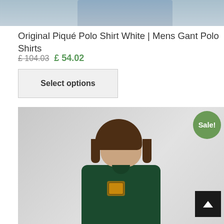[Figure (photo): Top portion of a product photo showing blue jeans against a light background]
Original Piqué Polo Shirt White | Mens Gant Polo Shirts
£ 104.03  £ 54.02
Select options
[Figure (photo): Young man with medium-length brown hair wearing a dark green Gant logo t-shirt, photographed against a light grey background. A green 'Sale!' badge appears in the top right corner.]